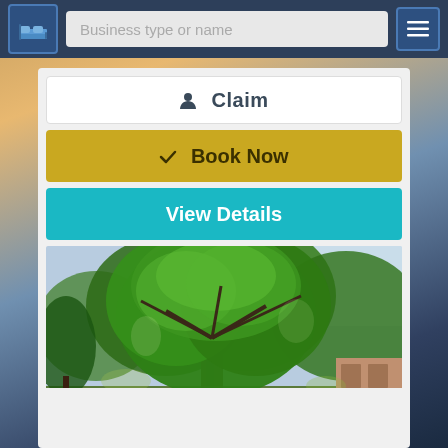[Figure (screenshot): Navigation header bar with blue bed/hotel logo icon on left, search input field with placeholder 'Business type or name', and hamburger menu icon on right, all on dark navy background]
Business type or name
Claim
Book Now
View Details
[Figure (photo): Outdoor photo showing large green leafy trees with spreading canopy branches, cars and brick buildings visible below in dappled light]